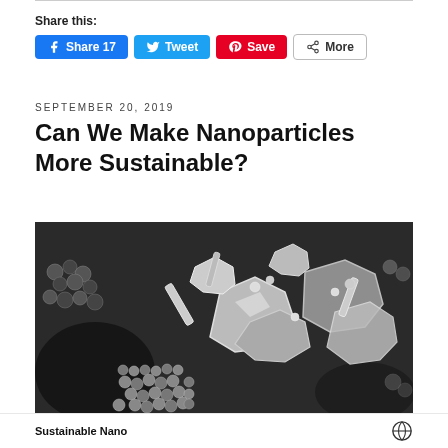Share this:
[Figure (screenshot): Social sharing buttons: Facebook Share 17, Twitter Tweet, Pinterest Save, More]
SEPTEMBER 20, 2019
Can We Make Nanoparticles More Sustainable?
[Figure (photo): Scanning electron microscope image of nanoparticles — grey-scale close-up showing spherical nanoparticles and larger crystalline/hexagonal shaped structures]
Sustainable Nano